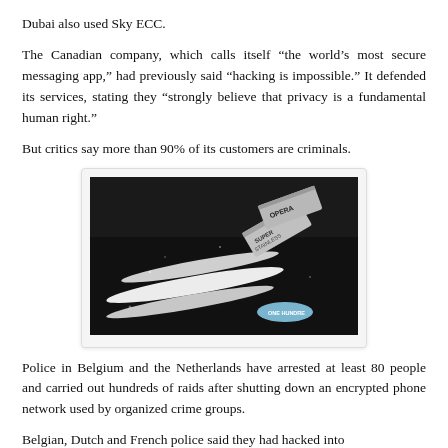Dubai also used Sky ECC.
The Canadian company, which calls itself “the world’s most secure messaging app,” had previously said “hacking is impossible.” It defended its services, stating they “strongly believe that privacy is a fundamental human right.”
But critics say more than 90% of its customers are criminals.
[Figure (photo): Close-up photograph of white powder lines arranged on a dark surface, with razor blades visible including one labeled 'Super Stainless' and a blue capsule/pill labeled 'One Hundred'.]
Police in Belgium and the Netherlands have arrested at least 80 people and carried out hundreds of raids after shutting down an encrypted phone network used by organized crime groups.
Belgian, Dutch and French police said they had hacked into